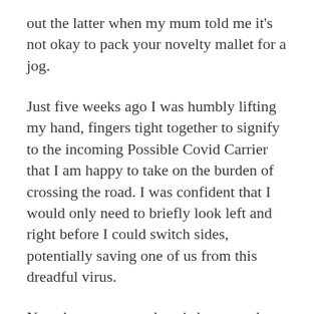out the latter when my mum told me it's not okay to pack your novelty mallet for a jog.
Just five weeks ago I was humbly lifting my hand, fingers tight together to signify to the incoming Possible Covid Carrier that I am happy to take on the burden of crossing the road. I was confident that I would only need to briefly look left and right before I could switch sides, potentially saving one of us from this dreadful virus.
Now, however, my chest is heavy and my heart rate quickened when faced with the imminent need to cross the road. My route is outlined by main roads and at least six cars will have driven by as I look, frantically, from left to right, trying to keep my feet moving beneath me. By the time I am able to